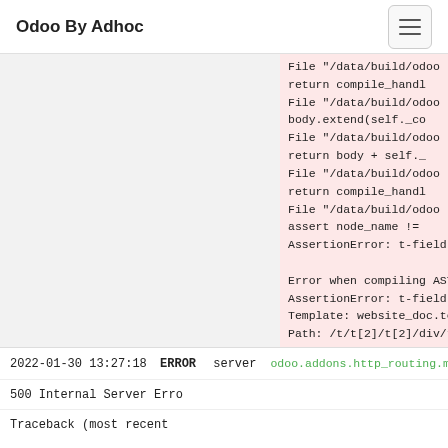Odoo By Adhoc
[Figure (screenshot): Error traceback panel with pink background showing Python stack trace lines including File paths, return statements, assert, and AssertionError for t-field]
2022-01-30 13:27:18  ERROR  server  odoo.addons.http_routing.m
500 Internal Server Erro
Traceback (most recent
File "/data/build/odoo
return compile_handl
File "/data/build/odoo
body.extend(self._co
File "/data/build/odoo
return body + self._
File "/data/build/odoo
return compile_handl
File "/data/build/odoo
assert node_name !=
AssertionError: t-field

Error when compiling AST
AssertionError: t-field
Template: website_doc.to
Path: /t/t[2]/t[2]/div/t
Node: <t t-field="title.